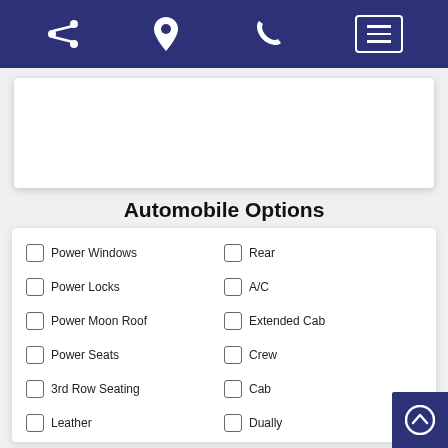Navigation bar with share, location, phone, and menu icons
[Figure (photo): White rectangular image placeholder area]
Automobile Options
Power Windows
Rear
Power Locks
A/C
Power Moon Roof
Extended Cab
Power Seats
Crew
3rd Row Seating
Cab
Leather
Dually